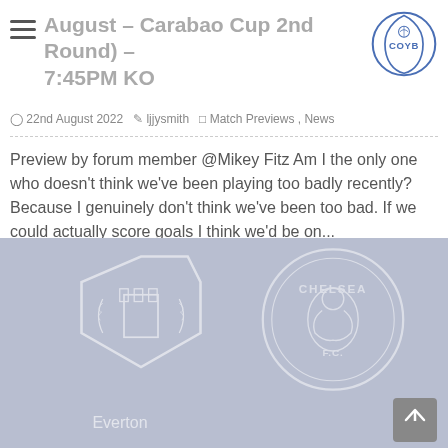Match Preview: Fleetwood Town (Carabao Cup 2nd Round) – 7:45PM KO
22nd August 2022  ljjysmith  Match Previews , News
Preview by forum member @Mikey Fitz Am I the only one who doesn't think we've been playing too badly recently? Because I genuinely don't think we've been too bad. If we could actually score goals I think we'd be on...
READ MORE
[Figure (illustration): Bottom card showing Everton and Chelsea club crests on a blue-grey background]